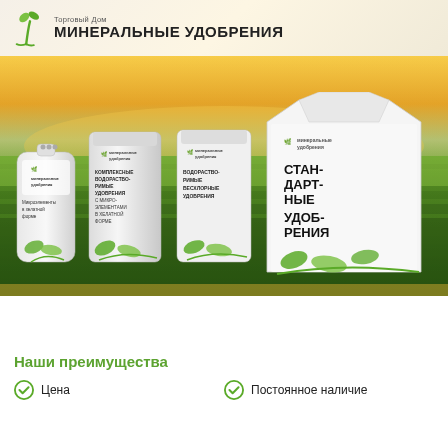[Figure (logo): Green plant/tree logo with text: Торговый Дом МИНЕРАЛЬНЫЕ УДОБРЕНИЯ]
[Figure (photo): Aerial photo of green wheat field with golden sky at sunset/sunrise]
[Figure (photo): Four white fertilizer bags/packages of increasing size with green leaf designs and product labels: Микроэлементы в хелатной форме, Комплексные водорастворимые удобрения с микроэлементами в хелатной форме, Водорастворимые бесхлорные удобрения, Стандартные удобрения]
Наши преимущества
Цена
Постоянное наличие